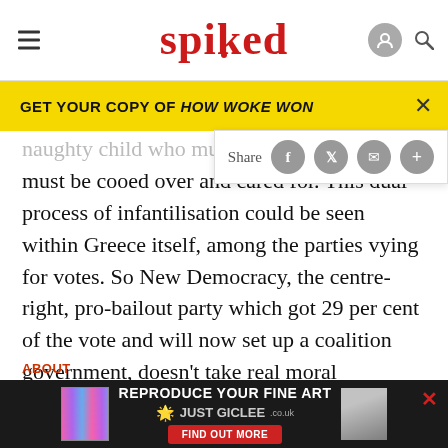spiked
GET YOUR COPY OF HOW WOKE WON
naughty child who must be rep… child who must be cooed over and cared for. This dual process of infantilisation could be seen within Greece itself, among the parties vying for votes. So New Democracy, the centre-right, pro-bailout party which got 29 per cent of the vote and will now set up a coalition government, doesn't take real moral responsibility for its actions. Instead it says these things must be done in order to appease the Troika.
[Figure (screenshot): Advertisement banner: REPRODUCE YOUR FINE ART - JUST GICLEE - FIND OUT MORE]